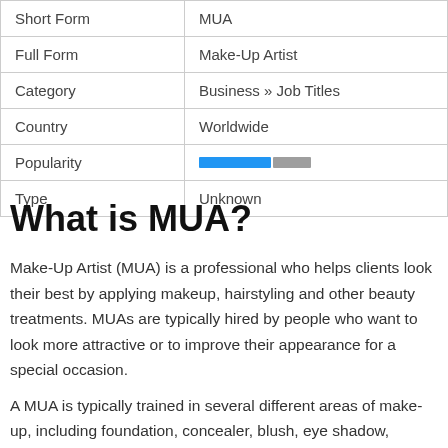|  |  |
| --- | --- |
| Short Form | MUA |
| Full Form | Make-Up Artist |
| Category | Business » Job Titles |
| Country | Worldwide |
| Popularity | [bar] |
| Type | Unknown |
What is MUA?
Make-Up Artist (MUA) is a professional who helps clients look their best by applying makeup, hairstyling and other beauty treatments. MUAs are typically hired by people who want to look more attractive or to improve their appearance for a special occasion.
A MUA is typically trained in several different areas of make-up, including foundation, concealer, blush, eye shadow, mascara and hair styling. They also know how to